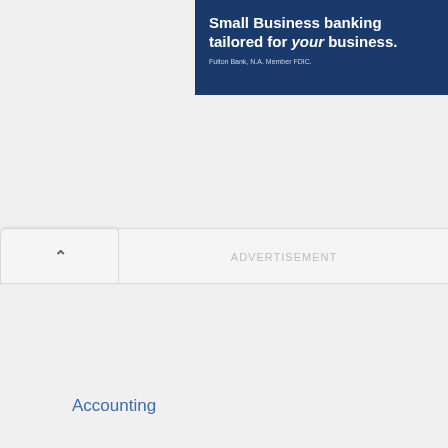[Figure (infographic): Small Business banking advertisement banner for Fulton Bank, N.A. on a dark blue background]
ADVERTISEMENT
Accounting